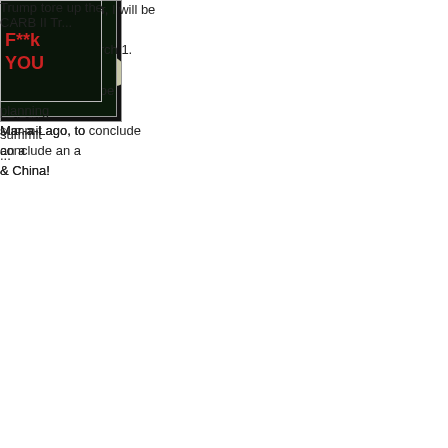Very......
....productive talks, I will be d... scheduled for March 1. Assu... progress, we will be planning... Mar-a-Lago, to conclude an a... & China!
Poste...
[Figure (photo): Avatar image of a white owl with wings spread on dark background, with text overlay]
interesting china wants to ma... the North Korea summit ...
[Figure (photo): Avatar image of a white owl with wings spread on dark background, with text overlay]
and finally!!!
baseball.
phil might be a liar, but the na... spring. 12-2 ...
[Figure (photo): Avatar image with dark background and text 'F**k you']
Trump tore up the CARB II Tr...